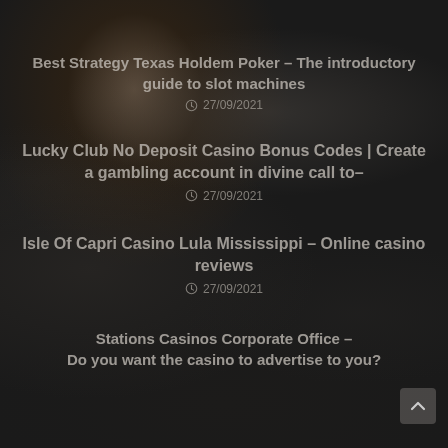Best Strategy Texas Holdem Poker – The introductory guide to slot machines
27/09/2021
Lucky Club No Deposit Casino Bonus Codes | Create a gambling account in divine call to–
27/09/2021
Isle Of Capri Casino Lula Mississippi – Online casino reviews
27/09/2021
Stations Casinos Corporate Office – Do you want the casino to advertise to you?